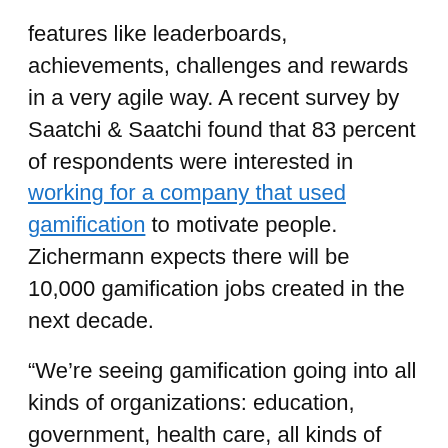features like leaderboards, achievements, challenges and rewards in a very agile way. A recent survey by Saatchi & Saatchi found that 83 percent of respondents were interested in working for a company that used gamification to motivate people. Zichermann expects there will be 10,000 gamification jobs created in the next decade.
“We’re seeing gamification going into all kinds of organizations: education, government, health care, all kinds of companies,” said Zichermann. “We need to have a reliable, predictable, quality education series of processes and steps that people can follow so they can build gamified solutions.”
Gamification continues to gather steam and some of the top companies are pulling down some big money. Badgeville last month grabbed $12 million, while